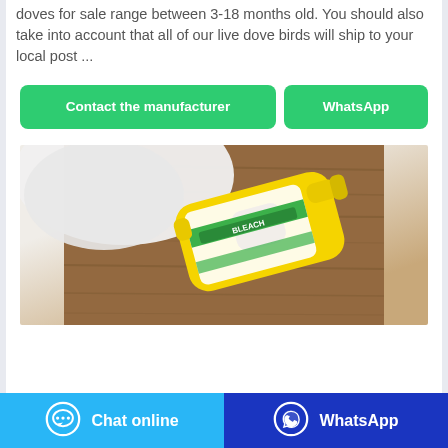doves for sale range between 3-18 months old. You should also take into account that all of our live dove birds will ship to your local post ...
Contact the manufacturer | WhatsApp
[Figure (photo): Yellow plastic bleach bottle (labeled BLEACH) lying on a wooden surface with white fabric behind it]
Chat online | WhatsApp